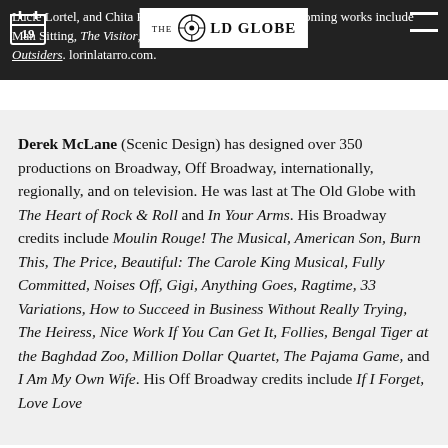Lucie Lortel, and Chita Rivera Award nominee. Her upcoming works include Man Sitting, The Visitor, and The Outsiders. lorinlatarro.com.
Derek McLane (Scenic Design) has designed over 350 productions on Broadway, Off Broadway, internationally, regionally, and on television. He was last at The Old Globe with The Heart of Rock & Roll and In Your Arms. His Broadway credits include Moulin Rouge! The Musical, American Son, Burn This, The Price, Beautiful: The Carole King Musical, Fully Committed, Noises Off, Gigi, Anything Goes, Ragtime, 33 Variations, How to Succeed in Business Without Really Trying, The Heiress, Nice Work If You Can Get It, Follies, Bengal Tiger at the Baghdad Zoo, Million Dollar Quartet, The Pajama Game, and I Am My Own Wife. His Off Broadway credits include If I Forget, Love Love Love...